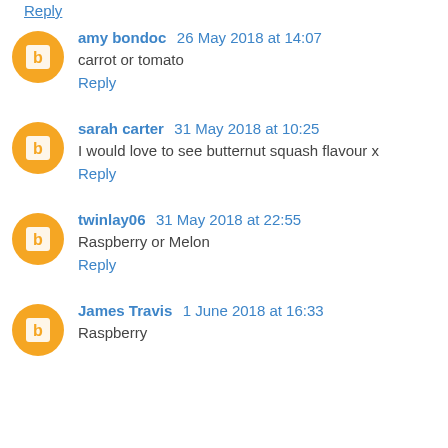Reply
amy bondoc 26 May 2018 at 14:07
carrot or tomato
Reply
sarah carter 31 May 2018 at 10:25
I would love to see butternut squash flavour x
Reply
twinlay06 31 May 2018 at 22:55
Raspberry or Melon
Reply
James Travis 1 June 2018 at 16:33
Raspberry